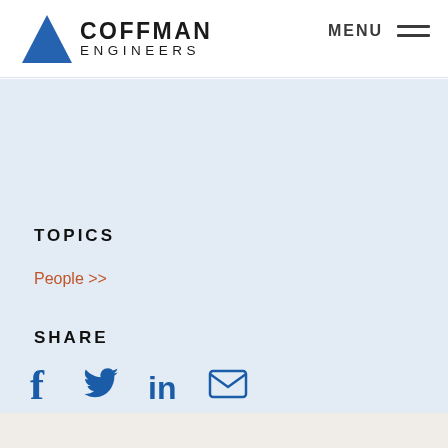COFFMAN ENGINEERS | MENU
TOPICS
People >>
SHARE
[Figure (other): Social share icons: Facebook, Twitter, LinkedIn, Email]